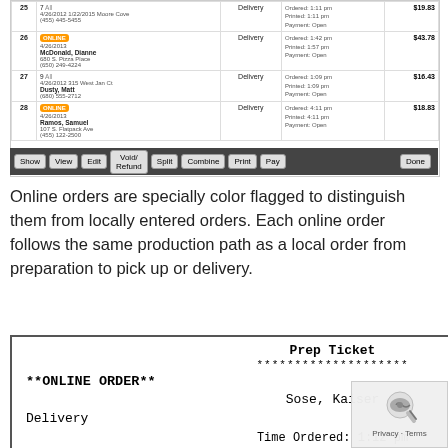[Figure (screenshot): Order management screen showing online orders rows 25-28 with orange ONLINE badges, delivery type, timestamps and amounts ($19.83, $43.78, $16.43, $18.83), with toolbar buttons: Show, View, Edit, Void/Refund, Split, Combine, Print, Pay, Done]
Online orders are specially color flagged to distinguish them from locally entered orders. Each online order follows the same production path as a local order from preparation to pick up or delivery.
[Figure (screenshot): Prep Ticket receipt showing: **ONLINE ORDER** Order: 7, Sose, Kaiser, Delivery 8/19/2009, Time Ordered: 1:12 pm, Time Promised: 1:45 pm, 1 Torpedo Salad Ranch]